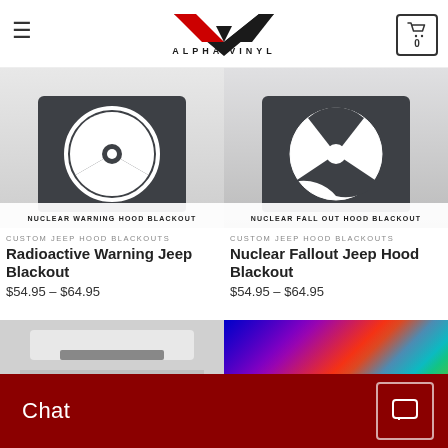Alpha Vinyl
[Figure (photo): Radioactive Warning Jeep Hood Blackout product photo - dark hood blackout panel with white radiation warning symbol on a white Jeep]
NUCLEAR WARNING HOOD BLACKOUT
CUSTOM JEEP HOOD BLACKOUTS
Radioactive Warning Jeep Blackout
$54.95 – $64.95
[Figure (photo): Nuclear Fallout Jeep Hood Blackout product photo - dark hood blackout panel with white fallout shelter symbol on a white Jeep]
NUCLEAR FALL OUT HOOD BLACKOUT
CUSTOM JEEP HOOD BLACKOUTS
Nuclear Fallout Jeep Hood Blackout
$54.95 – $64.95
[Figure (photo): Partial view of a Jeep hood blackout product - white Jeep with dark blackout strip]
[Figure (photo): Colorful psychedelic / multicolor product photo]
Chat